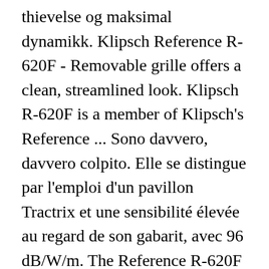thievelse og maksimal dynamikk. Klipsch Reference R-620F - Removable grille offers a clean, streamlined look. Klipsch R-620F is a member of Klipsch's Reference ... Sono davvero, davvero colpito. Elle se distingue par l'emploi d'un pavillon Tractrix et une sensibilité élevée au regard de son gabarit, avec 96 dB/W/m. The Reference R-620F floorstanding speaker is packed with best-in-class audio technology for an incredible listening experience that is built on over 70 years of Klipsch acoustic experience. The Reference R-620F floorstanding speaker is packed with best-in-class audio technology for an incredible listening experience that is built on over 70 years of Klipsch acoustic